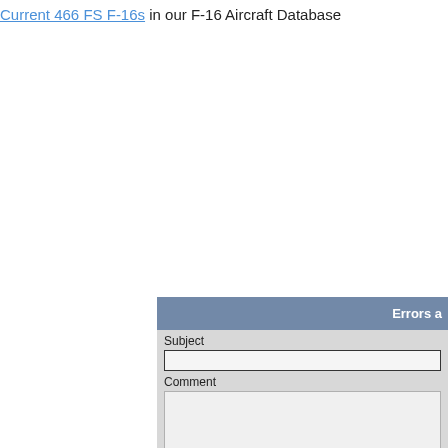Current 466 FS F-16s in our F-16 Aircraft Database
[Figure (screenshot): Partial web form panel with a blue-grey header labeled 'Errors a...', containing Subject text input, Comment textarea, and a Submit Comment button]
Subject
Comment
Submit Comment